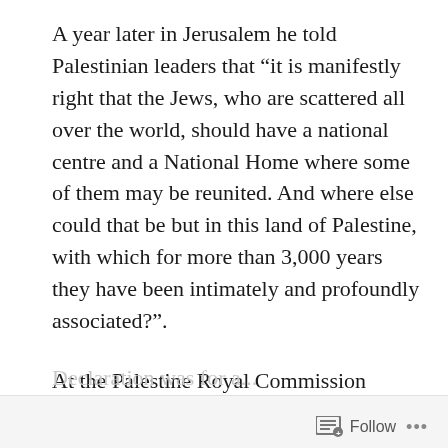A year later in Jerusalem he told Palestinian leaders that “it is manifestly right that the Jews, who are scattered all over the world, should have a national centre and a National Home where some of them may be reunited. And where else could that be but in this land of Palestine, with which for more than 3,000 years they have been intimately and profoundly associated?”.
At the Palestine Royal Commission (Peel) of 1937, Churchill stated that he believed in intention of the Balfour